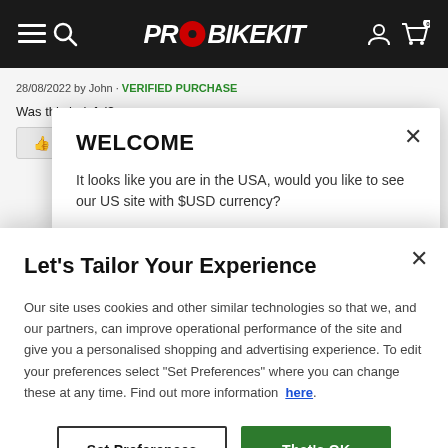PROBIKEKIT navigation bar with menu, search, account, and cart icons
28/06/2022 by John · VERIFIED PURCHASE
Was this helpful?
YES (0)   NO (0)   Report this review
WELCOME
It looks like you are in the USA, would you like to see our US site with $USD currency?
Let's Tailor Your Experience
Our site uses cookies and other similar technologies so that we, and our partners, can improve operational performance of the site and give you a personalised shopping and advertising experience. To edit your preferences select "Set Preferences" where you can change these at any time. Find out more information here.
Set Preferences   That's OK